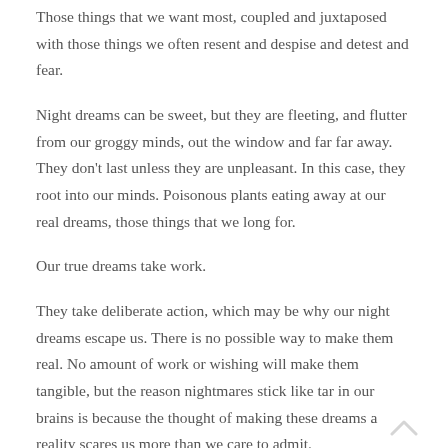Those things that we want most, coupled and juxtaposed with those things we often resent and despise and detest and fear.
Night dreams can be sweet, but they are fleeting, and flutter from our groggy minds, out the window and far far away. They don't last unless they are unpleasant. In this case, they root into our minds. Poisonous plants eating away at our real dreams, those things that we long for.
Our true dreams take work.
They take deliberate action, which may be why our night dreams escape us. There is no possible way to make them real. No amount of work or wishing will make them tangible, but the reason nightmares stick like tar in our brains is because the thought of making these dreams a reality scares us more than we care to admit.